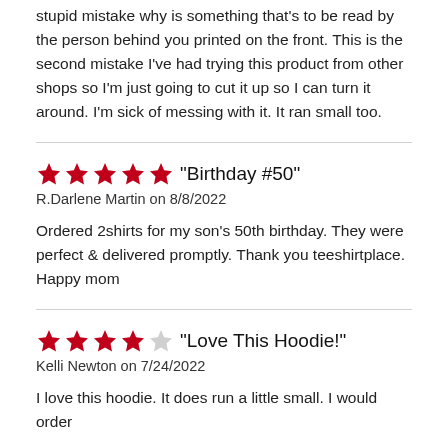stupid mistake why is something that's to be read by the person behind you printed on the front. This is the second mistake I've had trying this product from other shops so I'm just going to cut it up so I can turn it around. I'm sick of messing with it. It ran small too.
★★★★★ "Birthday #50"
R.Darlene Martin on 8/8/2022

Ordered 2shirts for my son's 50th birthday. They were perfect & delivered promptly. Thank you teeshirtplace. Happy mom
★★★★☆ "Love This Hoodie!"
Kelli Newton on 7/24/2022

I love this hoodie. It does run a little small. I would order